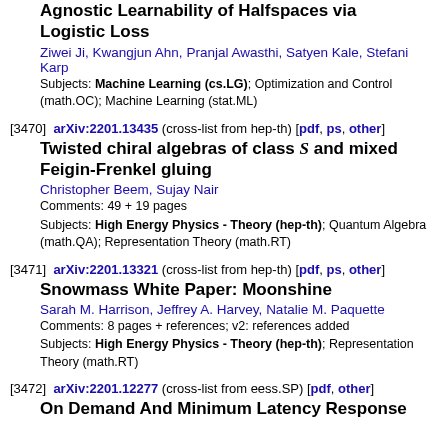Agnostic Learnability of Halfspaces via Logistic Loss
Ziwei Ji, Kwangjun Ahn, Pranjal Awasthi, Satyen Kale, Stefani Karp
Subjects: Machine Learning (cs.LG); Optimization and Control (math.OC); Machine Learning (stat.ML)
[3470]  arXiv:2201.13435 (cross-list from hep-th) [pdf, ps, other]
Twisted chiral algebras of class S and mixed Feigin-Frenkel gluing
Christopher Beem, Sujay Nair
Comments: 49 + 19 pages
Subjects: High Energy Physics - Theory (hep-th); Quantum Algebra (math.QA); Representation Theory (math.RT)
[3471]  arXiv:2201.13321 (cross-list from hep-th) [pdf, ps, other]
Snowmass White Paper: Moonshine
Sarah M. Harrison, Jeffrey A. Harvey, Natalie M. Paquette
Comments: 8 pages + references; v2: references added
Subjects: High Energy Physics - Theory (hep-th); Representation Theory (math.RT)
[3472]  arXiv:2201.12277 (cross-list from eess.SP) [pdf, other]
On Demand And Minimum Latency Response...